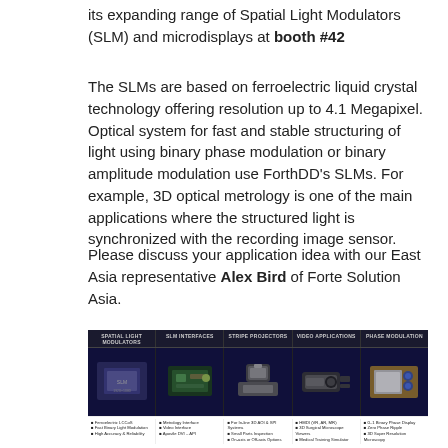its expanding range of Spatial Light Modulators (SLM) and microdisplays at booth #42
The SLMs are based on ferroelectric liquid crystal technology offering resolution up to 4.1 Megapixel. Optical system for fast and stable structuring of light using binary phase modulation or binary amplitude modulation use ForthDD's SLMs. For example, 3D optical metrology is one of the main applications where the structured light is synchronized with the recording image sensor.
Please discuss your application idea with our East Asia representative Alex Bird of Forte Solution Asia.
[Figure (photo): Product lineup image showing five columns: Spatial Light Modulators, SLM Interfaces, Stripe Projectors, Video Applications, Phase Modulation — each with a product photo and bullet point features listed below.]